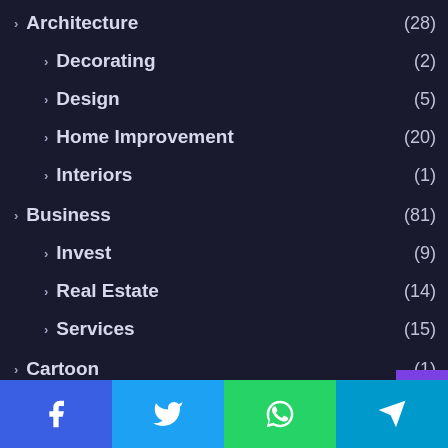> Architecture (28)
> Decorating (2)
> Design (5)
> Home Improvement (20)
> Interiors (1)
> Business (81)
> Invest (9)
> Real Estate (14)
> Services (15)
> Cartoon (1)
> Digital Marketing & SEO (19)
> Social Media (6)
> Education
[Figure (other): Social sharing bar with Facebook, Twitter, WhatsApp, Telegram icons at bottom of page]